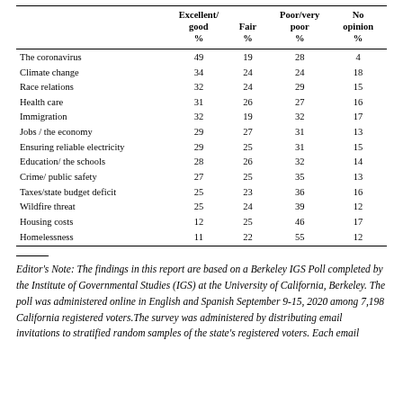|  | Excellent/good % | Fair % | Poor/very poor % | No opinion % |
| --- | --- | --- | --- | --- |
| The coronavirus | 49 | 19 | 28 | 4 |
| Climate change | 34 | 24 | 24 | 18 |
| Race relations | 32 | 24 | 29 | 15 |
| Health care | 31 | 26 | 27 | 16 |
| Immigration | 32 | 19 | 32 | 17 |
| Jobs / the economy | 29 | 27 | 31 | 13 |
| Ensuring reliable electricity | 29 | 25 | 31 | 15 |
| Education/ the schools | 28 | 26 | 32 | 14 |
| Crime/ public safety | 27 | 25 | 35 | 13 |
| Taxes/state budget deficit | 25 | 23 | 36 | 16 |
| Wildfire threat | 25 | 24 | 39 | 12 |
| Housing costs | 12 | 25 | 46 | 17 |
| Homelessness | 11 | 22 | 55 | 12 |
Editor's Note: The findings in this report are based on a Berkeley IGS Poll completed by the Institute of Governmental Studies (IGS) at the University of California, Berkeley. The poll was administered online in English and Spanish September 9-15, 2020 among 7,198 California registered voters.The survey was administered by distributing email invitations to stratified random samples of the state's registered voters. Each email